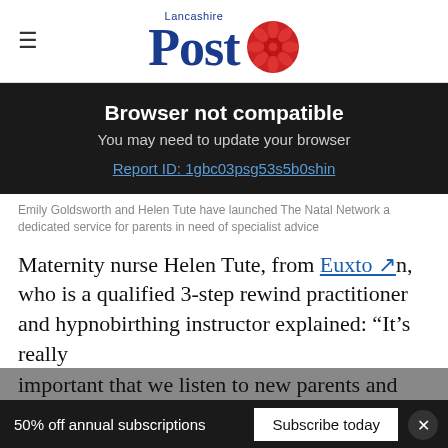Lancashire Post
Browser not compatible
You may need to update your browser
Report ID: 1gbc03psg53s5b0shin
Emily Goldsworth and Helen Tute have launched The Natal Network a dedicated service for parents in need of specialist advice
Maternity nurse Helen Tute, from Euxto n, who is a qualified 3-step rewind practitioner and hypnobirthing instructor explained: “It’s really important that we listen to new parents and help them to realise their parenting goals.
50% off annual subscriptions  Subscribe today